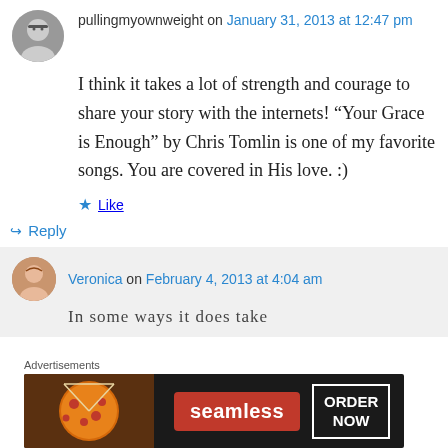pullingmyownweight on January 31, 2013 at 12:47 pm
I think it takes a lot of strength and courage to share your story with the internets! “Your Grace is Enough” by Chris Tomlin is one of my favorite songs. You are covered in His love. :)
Like
Reply
Veronica on February 4, 2013 at 4:04 am
In some ways it does take
Advertisements
[Figure (other): Seamless food delivery advertisement banner showing pizza image on left, Seamless logo in red, and ORDER NOW button]